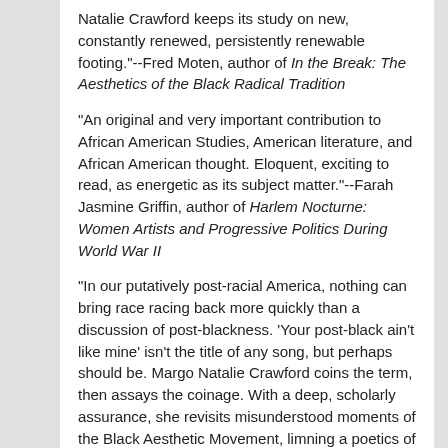Natalie Crawford keeps its study on new, constantly renewed, persistently renewable footing."--Fred Moten, author of In the Break: The Aesthetics of the Black Radical Tradition
"An original and very important contribution to African American Studies, American literature, and African American thought. Eloquent, exciting to read, as energetic as its subject matter."--Farah Jasmine Griffin, author of Harlem Nocturne: Women Artists and Progressive Politics During World War II
"In our putatively post-racial America, nothing can bring race racing back more quickly than a discussion of post-blackness. 'Your post-black ain't like mine' isn't the title of any song, but perhaps should be. Margo Natalie Crawford coins the term, then assays the coinage. With a deep, scholarly assurance, she revisits misunderstood moments of the Black Aesthetic Movement, limning a poetics of anticipation that tells us so much about our present."--Aldon Lynn Nielsen, author of Integral Music: Languages of African American Innovation
Black Post-Blackness: The Black Arts Movement and Twenty-First-Century Aesthetics